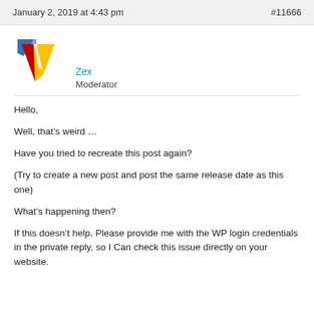January 2, 2019 at 4:43 pm   #11666
[Figure (logo): Stylized V logo with blue, red, and yellow colors — avatar for user Zex]
Zex
Moderator
Hello,

Well, that’s weird …

Have you tried to recreate this post again?

(Try to create a new post and post the same release date as this one)

What’s happening then?

If this doesn’t help, Please provide me with the WP login credentials in the private reply, so I Can check this issue directly on your website.